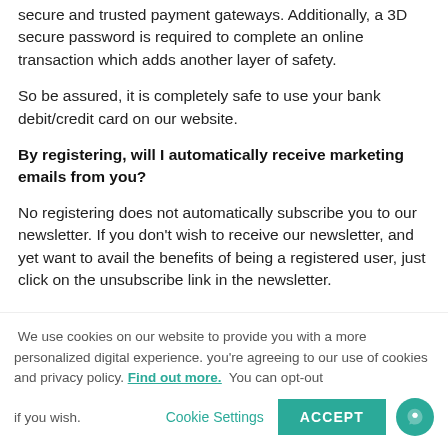secure and trusted payment gateways. Additionally, a 3D secure password is required to complete an online transaction which adds another layer of safety.
So be assured, it is completely safe to use your bank debit/credit card on our website.
By registering, will I automatically receive marketing emails from you?
No registering does not automatically subscribe you to our newsletter. If you don't wish to receive our newsletter, and yet want to avail the benefits of being a registered user, just click on the unsubscribe link in the newsletter.
We use cookies on our website to provide you with a more personalized digital experience. you're agreeing to our use of cookies and privacy policy. Find out more. You can opt-out if you wish. Cookie Settings ACCEPT